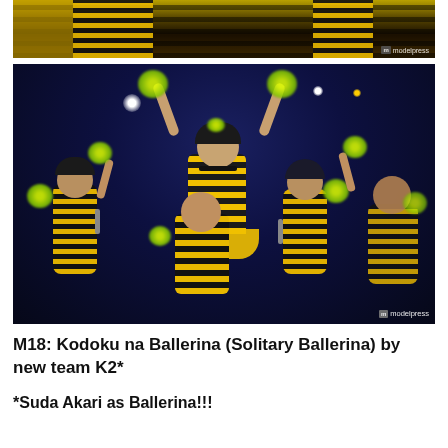[Figure (photo): Partial view of performers in yellow and black striped bee costumes on stage]
[Figure (photo): Group of female performers in yellow-black striped bee costumes on stage; center performer is lifted up with arms raised and fingers pointing up, wearing yellow pom-poms; background is dark blue stage lighting; modelpress watermark visible]
M18: Kodoku na Ballerina (Solitary Ballerina) by new team K2*
*Suda Akari as Ballerina!!!